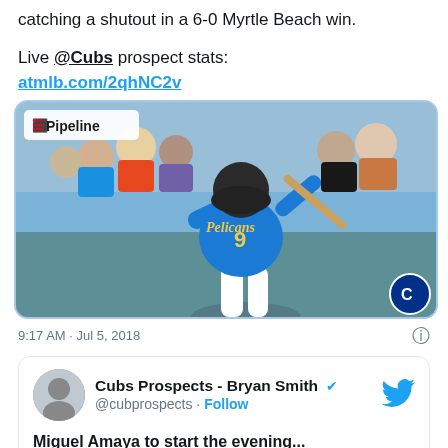catching a shutout in a 6-0 Myrtle Beach win.
Live @Cubs prospect stats: atmlb.com/2qhNC2v
[Figure (photo): Baseball player in blue Pelicans #9 jersey swinging bat, with Pipeline logo badge in upper left corner and Cubs logo in lower right corner.]
9:17 AM · Jul 5, 2018
Cubs Prospects - Bryan Smith @cubprospects · Follow
Miguel Amaya to start the evening...